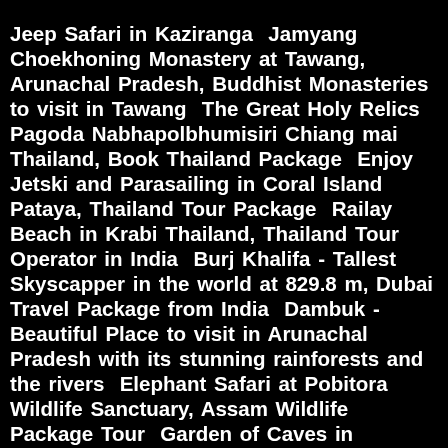Jeep Safari in Kaziranga  Jamyang Choekhoning Monastery at Tawang, Arunachal Pradesh, Buddhist Monasteries to visit in Tawang  The Great Holy Relics Pagoda Nabhapolbhumisiri Chiang mai Thailand, Book Thailand Package  Enjoy Jetski and Parasailing in Coral Island Pataya, Thailand Tour Package  Railay Beach in Krabi Thailand, Thailand Tour Operator in India  Burj Khalifa - Tallest Skyscapper in the world at 829.8 m, Dubai Travel Package from India  Dambuk - Beautiful Place to visit in Arunachal Pradesh with its stunning rainforests and the rivers  Elephant Safari at Pobitora Wildlife Sanctuary, Assam Wildlife Package Tour  Garden of Caves in Cherrapunji, Assam Meghalaya Arunachal Pradesh Tour Package  Mr Taufig Rahman Secretay TOAB visited Natural Holidays Office, Assam Travel Agents  Chandratal - Beautiful Lake in Spiti famous for its crystal clear water, Himachal Travel Package from Guwahati  Gorsam Chorten - 90 kilometre from Tawang, Famous Places to visit Tawang, LTC Packages for Tawang  Scenic Tourist Places to visit in Darjeeling, Low Price Darjeeling LTC Packages from Natural Holidays  Best Sikkim Package from Natural Holidays, Destinations to visit in Sikkim  Popular Bhutan Packages from Natural Holidays, Famous